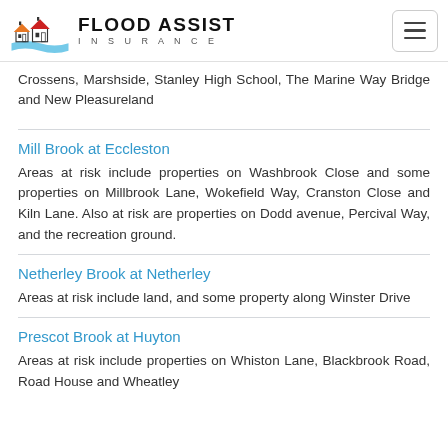FLOOD ASSIST INSURANCE
Crossens, Marshside, Stanley High School, The Marine Way Bridge and New Pleasureland
Mill Brook at Eccleston
Areas at risk include properties on Washbrook Close and some properties on Millbrook Lane, Wokefield Way, Cranston Close and Kiln Lane. Also at risk are properties on Dodd avenue, Percival Way, and the recreation ground.
Netherley Brook at Netherley
Areas at risk include land, and some property along Winster Drive
Prescot Brook at Huyton
Areas at risk include properties on Whiston Lane, Blackbrook Road, Road House and Wheatley...